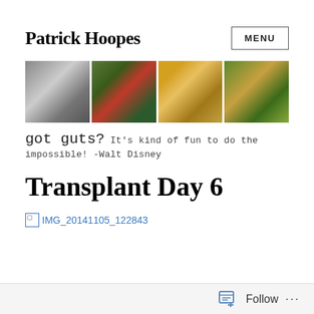Patrick Hoopes
[Figure (photo): Website banner with four photos of a boy/young man: black and white portrait, riding a green tractor, smiling with a yellow cap, standing in a field]
got guts?  It's kind of fun to do the impossible! -Walt Disney
Transplant Day 6
[Figure (photo): Broken image link placeholder labeled IMG_20141105_122843]
Follow  ...